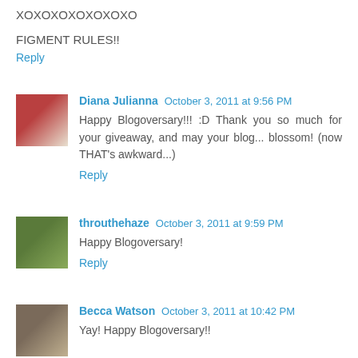XOXOXOXOXOXOXO
FIGMENT RULES!!
Reply
Diana Julianna October 3, 2011 at 9:56 PM
Happy Blogoversary!!! :D Thank you so much for your giveaway, and may your blog... blossom! (now THAT's awkward...)
Reply
throuthehaze October 3, 2011 at 9:59 PM
Happy Blogoversary!
Reply
Becca Watson October 3, 2011 at 10:42 PM
Yay! Happy Blogoversary!!